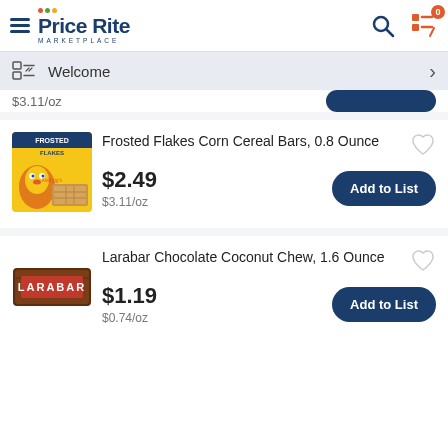Price Rite Marketplace
Welcome
$3.11/oz
Frosted Flakes Corn Cereal Bars, 0.8 Ounce
$2.49
$3.11/oz
Larabar Chocolate Coconut Chew, 1.6 Ounce
$1.19
$0.74/oz